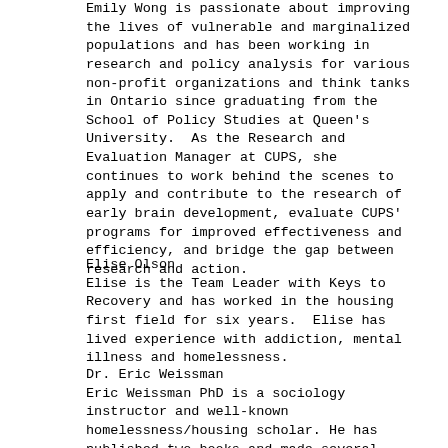Emily Wong is passionate about improving the lives of vulnerable and marginalized populations and has been working in research and policy analysis for various non-profit organizations and think tanks in Ontario since graduating from the School of Policy Studies at Queen's University.  As the Research and Evaluation Manager at CUPS, she continues to work behind the scenes to apply and contribute to the research of early brain development, evaluate CUPS' programs for improved effectiveness and efficiency, and bridge the gap between research and action.
Elise Olson
Elise is the Team Leader with Keys to Recovery and has worked in the housing first field for six years.  Elise has lived experience with addiction, mental illness and homelessness.
Dr. Eric Weissman
Eric Weissman PhD is a sociology instructor and well-known homelessness/housing scholar. He has published two books and made several documentary films that explore Housing First in